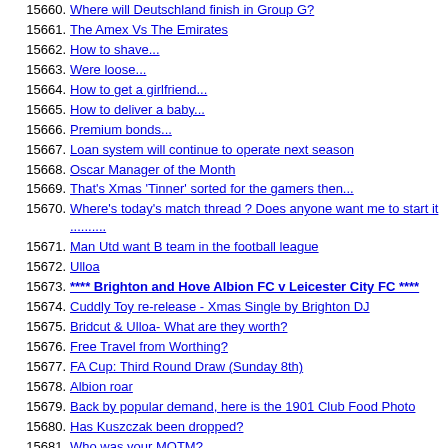15660. Where will Deutschland finish in Group G?
15661. The Amex Vs The Emirates
15662. How to shave...
15663. Were loose...
15664. How to get a girlfriend...
15665. How to deliver a baby...
15666. Premium bonds...
15667. Loan system will continue to operate next season
15668. Oscar Manager of the Month
15669. That's Xmas 'Tinner' sorted for the gamers then...
15670. Where's today's match thread ? Does anyone want me to start it ..........
15671. Man Utd want B team in the football league
15672. Ulloa
15673. **** Brighton and Hove Albion FC v Leicester City FC ****
15674. Cuddly Toy re-release - Xmas Single by Brighton DJ
15675. Bridcut & Ulloa- What are they worth?
15676. Free Travel from Worthing?
15677. FA Cup: Third Round Draw (Sunday 8th)
15678. Albion roar
15679. Back by popular demand, here is the 1901 Club Food Photo
15680. Has Kuszczak been dropped?
15681. Who was your MOTM?
15682. Bridcutt and Ince together.....
15683. Today's highlights from a moron
15684. Peter Brezovan
15685. Now Soddin' Moan!
15686. Did you applaud at half/fulltime